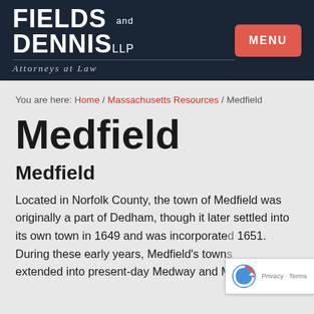[Figure (logo): Fields and Dennis LLP Attorneys at Law logo with white text on dark navy background, and a red MENU button]
You are here: Home / Massachusetts Resources / Medfield
Medfield
Medfield
Located in Norfolk County, the town of Medfield was originally a part of Dedham, though it later settled into its own town in 1649 and was incorporated 1651. During these early years, Medfield's town extended into present-day Medway and Millis...